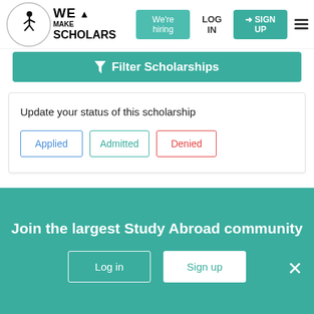[Figure (logo): We Make Scholars logo with circular emblem and jumping figure]
We're hiring | LOG IN | SIGN UP
Filter Scholarships
Update your status of this scholarship
Applied
Admitted
Denied
[Figure (illustration): Scholarship institution logo/statue image]
Expired
Try next time
Join the largest Study Abroad community
Log in
Sign up